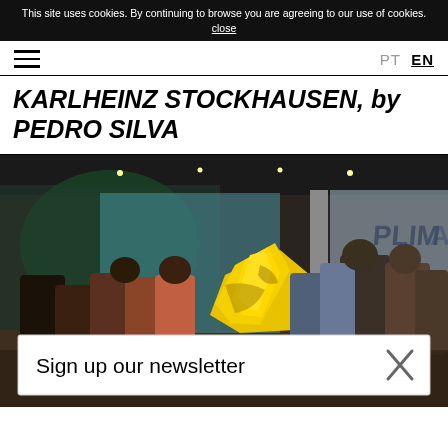This site uses cookies. By continuing to browse you are agreeing to our use of cookies. close
PT EN
KARLHEINZ STOCKHAUSEN, by PEDRO SILVA
[Figure (photo): Gallery opening reception with crowd of people standing around a large yellow sculptural installation. Green lighting in background, PLIMA text visible on wall. White gallery space with wooden floor.]
Sign up our newsletter